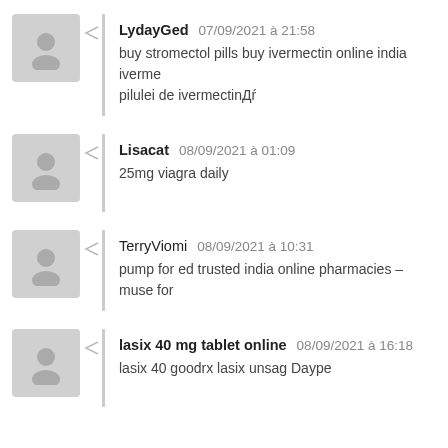LydayGed  07/09/2021 à 21:58
buy stromectol pills buy ivermectin online india iverme... pilulei de ivermectinДŕ
Lisacat  08/09/2021 à 01:09
25mg viagra daily
TerryViomi  08/09/2021 à 10:31
pump for ed trusted india online pharmacies – muse for...
lasix 40 mg tablet online  08/09/2021 à 16:18
lasix 40 goodrx lasix unsag Daype